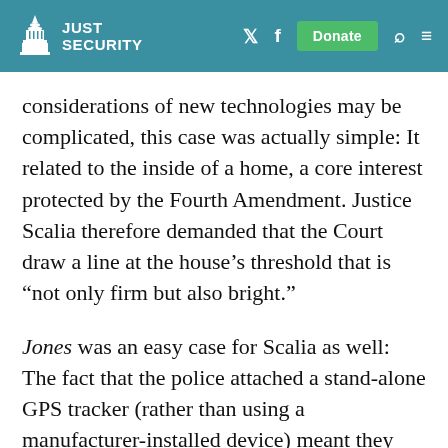JUST SECURITY
considerations of new technologies may be complicated, this case was actually simple: It related to the inside of a home, a core interest protected by the Fourth Amendment. Justice Scalia therefore demanded that the Court draw a line at the house's threshold that is “not only firm but also bright.”
Jones was an easy case for Scalia as well: The fact that the police attached a stand-alone GPS tracker (rather than using a manufacturer-installed device) meant they had trespassed on private property, a clear-cut Fourth